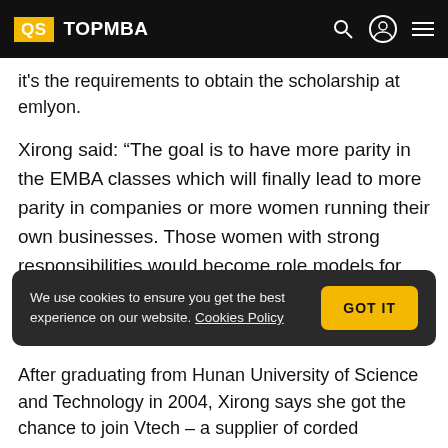QS TOPMBA
it's the requirements to obtain the scholarship at emlyon.
Xirong said: “The goal is to have more parity in the EMBA classes which will finally lead to more parity in companies or more women running their own businesses. Those women with strong responsibilities would become role models for the other generations and start a virtuous circle on the way to gender balance.
We use cookies to ensure you get the best experience on our website. Cookies Policy
After graduating from Hunan University of Science and Technology in 2004, Xirong says she got the chance to join Vtech – a supplier of corded